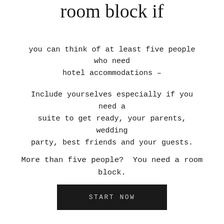room block if
you can think of at least five people who need hotel accommodations –
Include yourselves especially if you need a suite to get ready, your parents, wedding party, best friends and your guests.
More than five people?  You need a room block.
START NOW